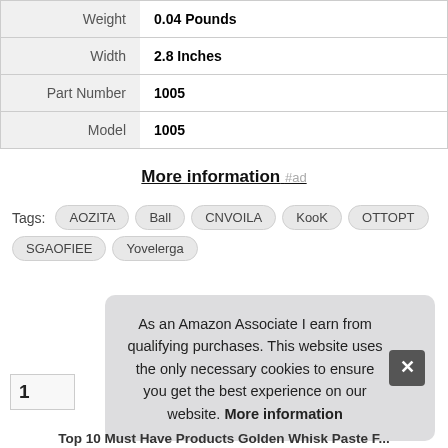| Attribute | Value |
| --- | --- |
| Weight | 0.04 Pounds |
| Width | 2.8 Inches |
| Part Number | 1005 |
| Model | 1005 |
More information #ad
Tags: AOZITA  Ball  CNVOILA  KooK  OTTOPT  SGAOFIEE  Yovelerga
As an Amazon Associate I earn from qualifying purchases. This website uses the only necessary cookies to ensure you get the best experience on our website. More information